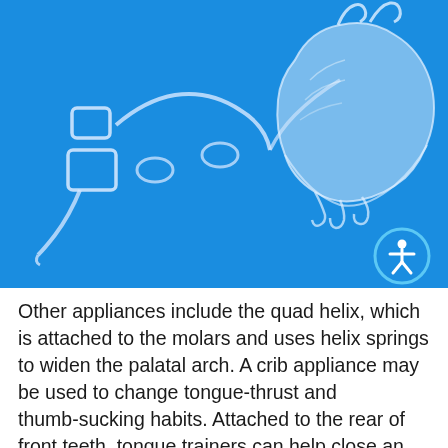[Figure (photo): Two clear/transparent dental orthodontic appliances (retainers/mouth guards) photographed on a bright blue background. One appears to be a quad helix or crib-type appliance and the other is a larger palatal expander or similar device. An accessibility icon (person with circle) is visible in the bottom-right corner of the image.]
Other appliances include the quad helix, which is attached to the molars and uses helix springs to widen the palatal arch. A crib appliance may be used to change tongue-thrust and thumb-sucking habits. Attached to the rear of front teeth, tongue trainers can help close an open bite and alleviate severe tongue thrusts. There are also various other types of appliances designed to address different